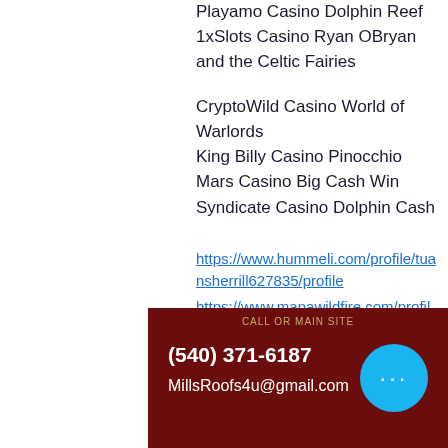Playamo Casino Dolphin Reef
1xSlots Casino Ryan OBryan and the Celtic Fairies
CryptoWild Casino World of Warlords
King Billy Casino Pinocchio
Mars Casino Big Cash Win
Syndicate Casino Dolphin Cash
https://www.hummeli.com/profile/tuansherrill627835/profile
https://www.manawildfire.com/profile/fransiscazolnoske6430678/profile
https://www.cccpaloalto.org/profile/neilcaseres8969610/profile
https://www.thetuningfork.com.au/profile/alfredfrett12286792/profile
(540) 371-6187
MillsRoofs4u@gmail.com